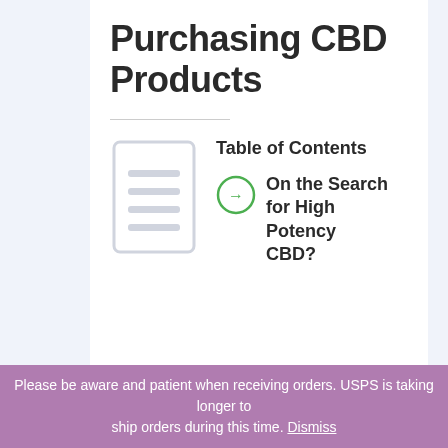Purchasing CBD Products
[Figure (illustration): Decorative horizontal divider line]
[Figure (illustration): Document/list icon (light gray outline of a document with horizontal lines representing text)]
Table of Contents
On the Search for High Potency CBD?
Please be aware and patient when receiving orders. USPS is taking longer to ship orders during this time. Dismiss